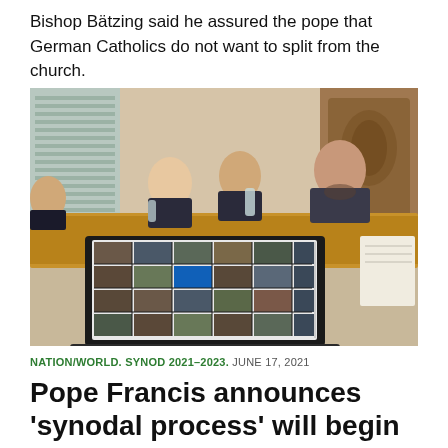Bishop Bätzing said he assured the pope that German Catholics do not want to split from the church.
[Figure (photo): People seated at a conference table in a room with blinds and a carved wooden relief on the wall. In the foreground is a laptop showing a video conference with many participants in a grid view.]
NATION/WORLD. SYNOD 2021–2023. JUNE 17, 2021
Pope Francis announces 'synodal process' will begin in October